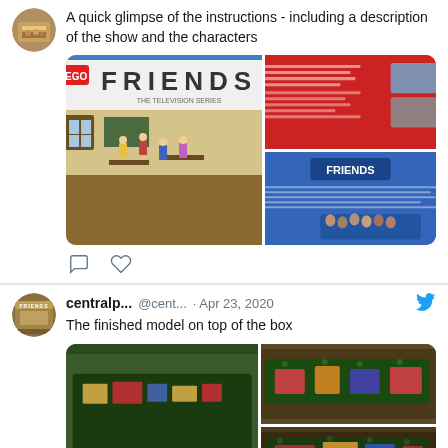A quick glimpse of the instructions - including a description of the show and the characters
[Figure (photo): Two photos side by side: left shows LEGO Friends box art with Central Perk scene, right shows two stacked photos of the instruction booklet pages with red and blue backgrounds]
[Figure (other): Twitter action icons: comment bubble and heart/like icon]
centralp...  @cent...  · Apr 23, 2020  The finished model on top of the box
[Figure (photo): Three photos of the finished LEGO Friends Central Perk model placed on top of the box, showing different angles of the completed build]